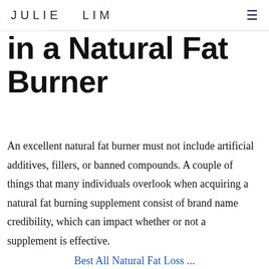JULIE  LIM
in a Natural Fat Burner
An excellent natural fat burner must not include artificial additives, fillers, or banned compounds. A couple of things that many individuals overlook when acquiring a natural fat burning supplement consist of brand name credibility, which can impact whether or not a supplement is effective.
Best All Natural Fat Loss...